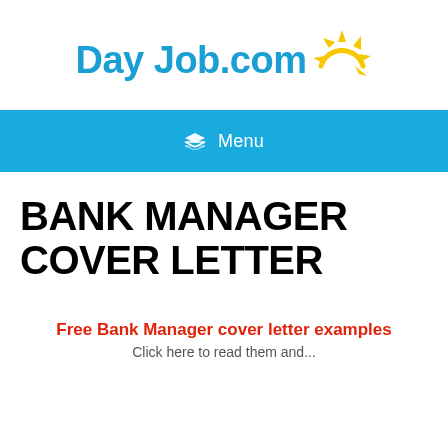[Figure (logo): DayJob.com logo with a yellow sun icon on the right side of the text]
☰ Menu
BANK MANAGER COVER LETTER
Free Bank Manager cover letter examples
Click here to read them and...